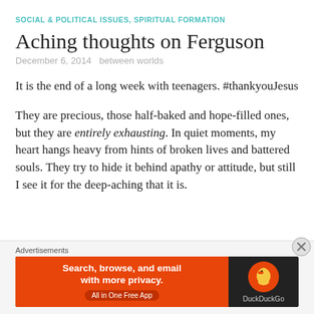SOCIAL & POLITICAL ISSUES, SPIRITUAL FORMATION
Aching thoughts on Ferguson
December 6, 2014   between worlds
It is the end of a long week with teenagers. #thankyouJesus
They are precious, those half-baked and hope-filled ones, but they are entirely exhausting. In quiet moments, my heart hangs heavy from hints of broken lives and battered souls. They try to hide it behind apathy or attitude, but still I see it for the deep-aching that it is.
[Figure (screenshot): DuckDuckGo advertisement banner: orange left panel with text 'Search, browse, and email with more privacy. All in One Free App', dark right panel with DuckDuckGo duck logo and brand name.]
Advertisements